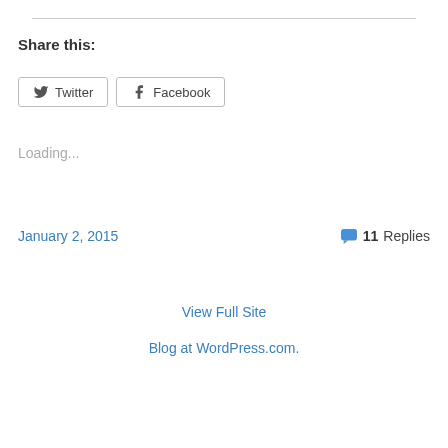Share this:
Twitter  Facebook
Loading...
January 2, 2015
11 Replies
View Full Site
Blog at WordPress.com.